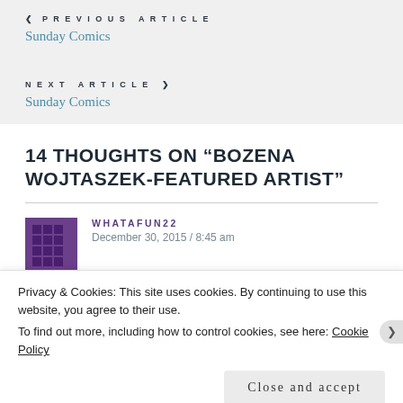< PREVIOUS ARTICLE
Sunday Comics
NEXT ARTICLE >
Sunday Comics
14 THOUGHTS ON “BOZENA WOJTASZEK-FEATURED ARTIST”
WHATAFUN22
December 30, 2015 / 8:45 am
Privacy & Cookies: This site uses cookies. By continuing to use this website, you agree to their use.
To find out more, including how to control cookies, see here: Cookie Policy
Close and accept